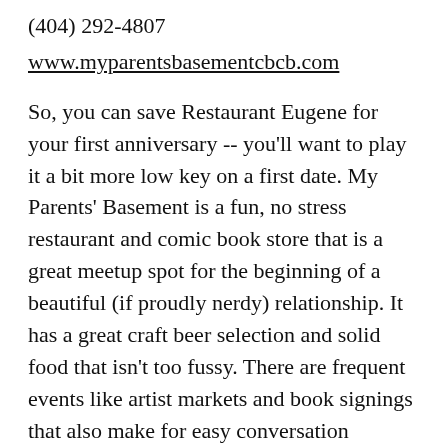(404) 292-4807
www.myparentsbasementcbcb.com
So, you can save Restaurant Eugene for your first anniversary -- you'll want to play it a bit more low key on a first date. My Parents' Basement is a fun, no stress restaurant and comic book store that is a great meetup spot for the beginning of a beautiful (if proudly nerdy) relationship. It has a great craft beer selection and solid food that isn't too fussy. There are frequent events like artist markets and book signings that also make for easy conversation starters.
Apres Diem
931 Monroe Drive N.E.
Atlanta, GA 30308
(404) 872-3333